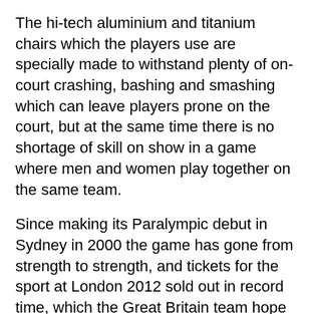The hi-tech aluminium and titanium chairs which the players use are specially made to withstand plenty of on-court crashing, bashing and smashing which can leave players prone on the court, but at the same time there is no shortage of skill on show in a game where men and women play together on the same team.
Since making its Paralympic debut in Sydney in 2000 the game has gone from strength to strength, and tickets for the sport at London 2012 sold out in record time, which the Great Britain team hope will play to their advantage.
GB suffered the heartbreak of losing out in the bronze medal play-offs at both the Athens and Beijing Paralympics, and despite being four-time European champions they have also failed to deliver a medal at the World Championships.
But those involved with the team believe that they will be in the mix for medals again this time around and they can finally make the investment in the team pay off.